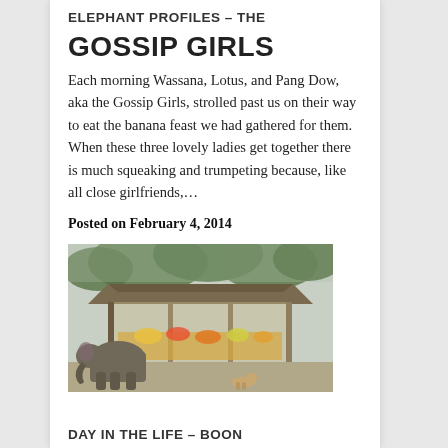ELEPHANT PROFILES – THE
GOSSIP GIRLS
Each morning Wassana, Lotus, and Pang Dow, aka the Gossip Girls, strolled past us on their way to eat the banana feast we had gathered for them. When these three lovely ladies get together there is much squeaking and trumpeting because, like all close girlfriends,...
Posted on February 4, 2014
[Figure (photo): An elephant feeding at an open-sided wooden shelter or food station, surrounded by greenery and trees, outdoor setting.]
DAY IN THE LIFE – BOON